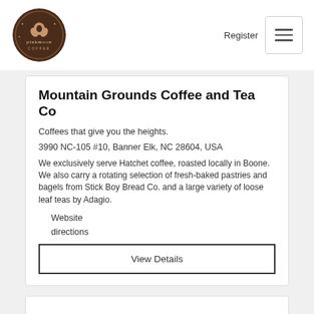[Figure (logo): Pink Moon Coffee circular logo with coffee bean and floral design, brown color scheme]
Register
Mountain Grounds Coffee and Tea Co
Coffees that give you the heights.
3990 NC-105 #10, Banner Elk, NC 28604, USA
We exclusively serve Hatchet coffee, roasted locally in Boone. We also carry a rotating selection of fresh-baked pastries and bagels from Stick Boy Bread Co. and a large variety of loose leaf teas by Adagio.
Website
directions
View Details